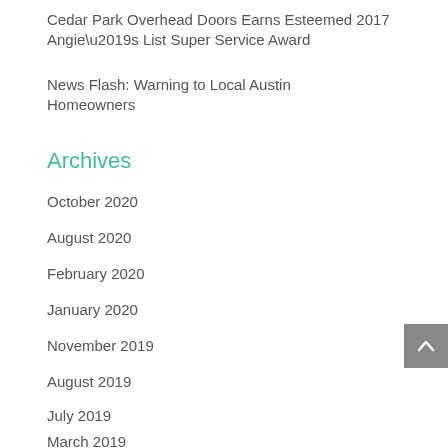Cedar Park Overhead Doors Earns Esteemed 2017 Angie’s List Super Service Award
News Flash: Warning to Local Austin Homeowners
Archives
October 2020
August 2020
February 2020
January 2020
November 2019
August 2019
July 2019
March 2019